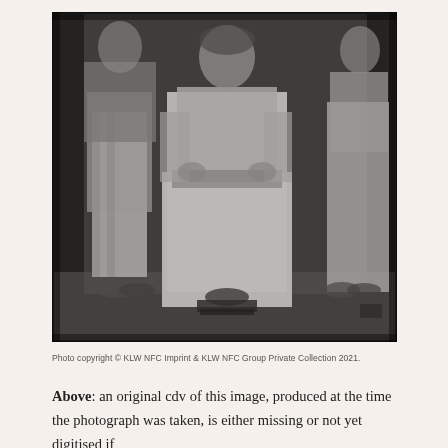[Figure (photo): Black and white historical photograph (cdv style) showing three people standing together, appearing to be from the 19th century. The central figure is a woman in a light-colored dress or apron. Two other figures flank her on either side. The image is sepia-toned and aged.]
Photo copyright © KLW NFC Imprint & KLW NFC Group Private Collection 2021.
Above: an original cdv of this image, produced at the time the photograph was taken, is either missing or not yet digitised if